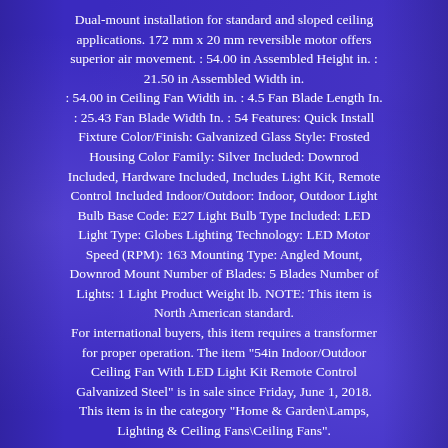Dual-mount installation for standard and sloped ceiling applications. 172 mm x 20 mm reversible motor offers superior air movement. : 54.00 in Assembled Height in. : 21.50 in Assembled Width in.
: 54.00 in Ceiling Fan Width in. : 4.5 Fan Blade Length In. : 25.43 Fan Blade Width In. : 54 Features: Quick Install Fixture Color/Finish: Galvanized Glass Style: Frosted Housing Color Family: Silver Included: Downrod Included, Hardware Included, Includes Light Kit, Remote Control Included Indoor/Outdoor: Indoor, Outdoor Light Bulb Base Code: E27 Light Bulb Type Included: LED Light Type: Globes Lighting Technology: LED Motor Speed (RPM): 163 Mounting Type: Angled Mount, Downrod Mount Number of Blades: 5 Blades Number of Lights: 1 Light Product Weight lb. NOTE: This item is North American standard.
For international buyers, this item requires a transformer for proper operation. The item "54in Indoor/Outdoor Ceiling Fan With LED Light Kit Remote Control Galvanized Steel" is in sale since Friday, June 1, 2018. This item is in the category "Home & Garden\Lamps, Lighting & Ceiling Fans\Ceiling Fans".